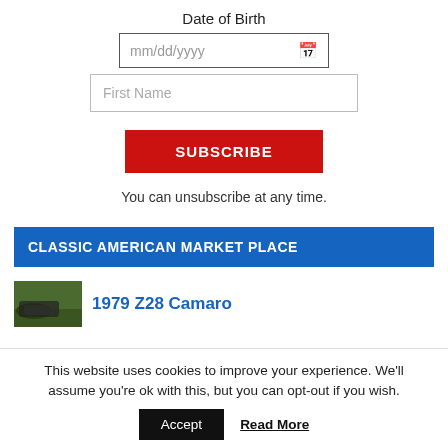Date of Birth
[Figure (screenshot): Date of birth input field with mm/dd/yyyy placeholder and calendar icon]
[Figure (screenshot): First Name text input field]
[Figure (screenshot): Red SUBSCRIBE button]
You can unsubscribe at any time.
CLASSIC AMERICAN MARKET PLACE
1979 Z28 Camaro
This website uses cookies to improve your experience. We'll assume you're ok with this, but you can opt-out if you wish.
Accept
Read More